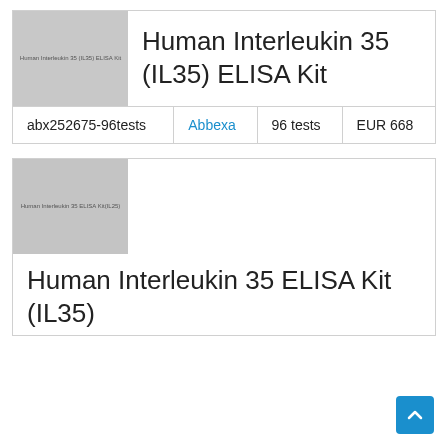[Figure (photo): Product image placeholder for Human Interleukin 35 (IL35) ELISA Kit with watermark text]
Human Interleukin 35 (IL35) ELISA Kit
| abx252675-96tests | Abbexa | 96 tests | EUR 668 |
[Figure (photo): Product image placeholder for Human Interleukin 35 ELISA Kit (IL35) with watermark text]
Human Interleukin 35 ELISA Kit (IL35)